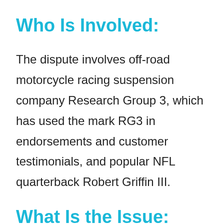Who Is Involved:
The dispute involves off-road motorcycle racing suspension company Research Group 3, which has used the mark RG3 in endorsements and customer testimonials, and popular NFL quarterback Robert Griffin III.
What Is the Issue:
Research Group 3’s reputation with the motorcycle racing community has led to a positive brand association with strong